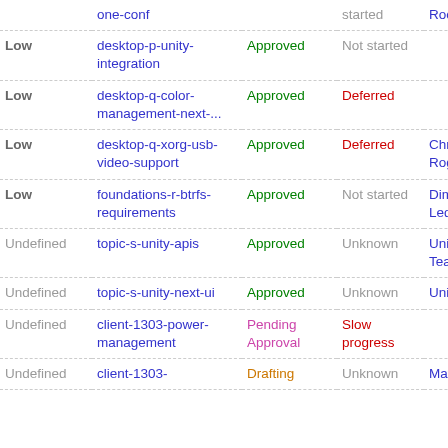| Priority | Spec | Status | Implementation | Drafter |
| --- | --- | --- | --- | --- |
|  | one-conf |  | started | Roche |
| Low | desktop-p-unity-integration | Approved | Not started |  |
| Low | desktop-q-color-management-next-... | Approved | Deferred |  |
| Low | desktop-q-xorg-usb-video-support | Approved | Deferred | Chris Halse Rogers |
| Low | foundations-r-btrfs-requirements | Approved | Not started | Dimitri John Ledkov |
| Undefined | topic-s-unity-apis | Approved | Unknown | Unity API Team |
| Undefined | topic-s-unity-next-ui | Approved | Unknown | Unity Team |
| Undefined | client-1303-power-management | Pending Approval | Slow progress |  |
| Undefined | client-1303- | Drafting | Unknown | Mathieu |